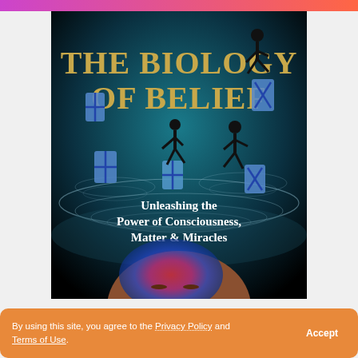[Figure (illustration): Book cover of 'The Biology of Belief' showing dark background with water ripples, silhouettes of dancing figures, chromosome illustrations, and a person's head with colorful swirling brain imagery. Title text in gold reads 'THE BIOLOGY OF BELIEF' and subtitle reads 'Unleashing the Power of Consciousness, Matter & Miracles'.]
By using this site, you agree to the Privacy Policy and Terms of Use.